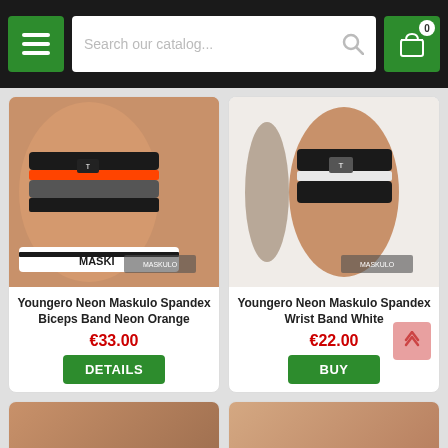Search our catalog...
[Figure (photo): Person wearing a neon orange biceps band on upper arm, shirtless, black and orange spandex band with Maskulo branding]
Youngero Neon Maskulo Spandex Biceps Band Neon Orange
€33.00
DETAILS
[Figure (photo): Hand/wrist wearing a white and black spandex wrist band with Maskulo branding on white background]
Youngero Neon Maskulo Spandex Wrist Band White
€22.00
BUY